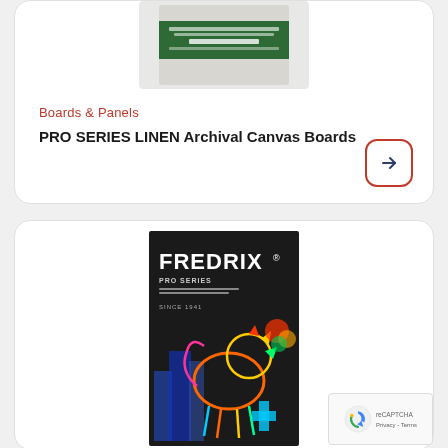[Figure (photo): Top portion of a product card showing a Fredrix canvas board product image — a flat white/cream board with green label — partially visible at top]
Boards & Panels
PRO SERIES LINEN Archival Canvas Boards
[Figure (illustration): Arrow button icon — right-pointing arrow inside a rounded square with red border]
[Figure (photo): Fredrix Pro Series product packaging — black box with colorful lion illustration and FREDRIX logo in white text]